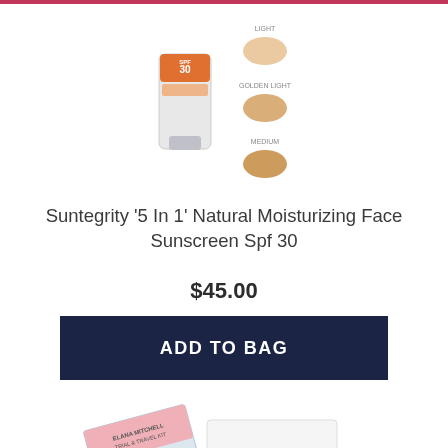[Figure (photo): Suntegrity SPF 30 sunscreen tube product with color swatches showing Light, Golden Light, and Medium shades]
Suntegrity '5 In 1' Natural Moisturizing Face Sunscreen Spf 30
$45.00
ADD TO BAG
[Figure (photo): Elana Mitchell Trial & Travel Kit product set showing box, booklet with woman's photo, and multiple small product containers]